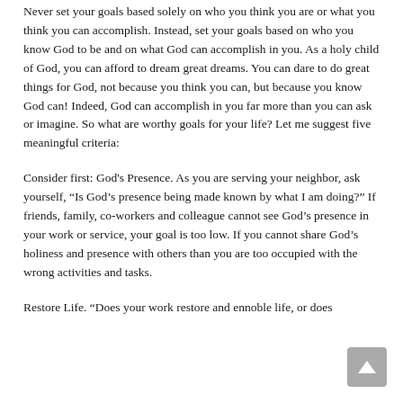Over the past 25 years of ministry I have learned an important lesson. Never set your goals based solely on who you think you are or what you think you can accomplish. Instead, set your goals based on who you know God to be and on what God can accomplish in you. As a holy child of God, you can afford to dream great dreams. You can dare to do great things for God, not because you think you can, but because you know God can! Indeed, God can accomplish in you far more than you can ask or imagine. So what are worthy goals for your life? Let me suggest five meaningful criteria:
Consider first: God's Presence. As you are serving your neighbor, ask yourself, "Is God's presence being made known by what I am doing?" If friends, family, co-workers and colleague cannot see God's presence in your work or service, your goal is too low. If you cannot share God's holiness and presence with others than you are too occupied with the wrong activities and tasks.
Restore Life. "Does your work restore and ennoble life, or does